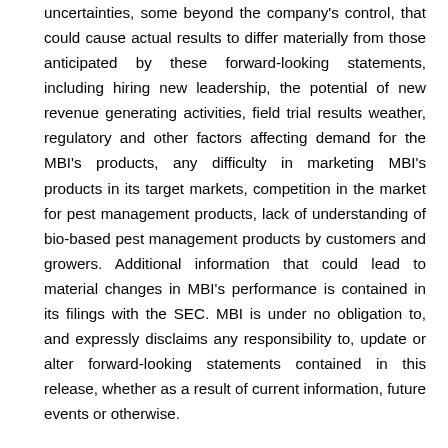uncertainties, some beyond the company's control, that could cause actual results to differ materially from those anticipated by these forward-looking statements, including hiring new leadership, the potential of new revenue generating activities, field trial results weather, regulatory and other factors affecting demand for the MBI's products, any difficulty in marketing MBI's products in its target markets, competition in the market for pest management products, lack of understanding of bio-based pest management products by customers and growers. Additional information that could lead to material changes in MBI's performance is contained in its filings with the SEC. MBI is under no obligation to, and expressly disclaims any responsibility to, update or alter forward-looking statements contained in this release, whether as a result of current information, future events or otherwise.